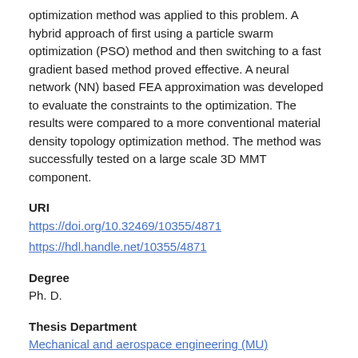optimization method was applied to this problem. A hybrid approach of first using a particle swarm optimization (PSO) method and then switching to a fast gradient based method proved effective. A neural network (NN) based FEA approximation was developed to evaluate the constraints to the optimization. The results were compared to a more conventional material density topology optimization method. The method was successfully tested on a large scale 3D MMT component.
URI
https://doi.org/10.32469/10355/4871
https://hdl.handle.net/10355/4871
Degree
Ph. D.
Thesis Department
Mechanical and aerospace engineering (MU)
Rights
OpenAccess.
This work is licensed under a Creative Commons Attribution-